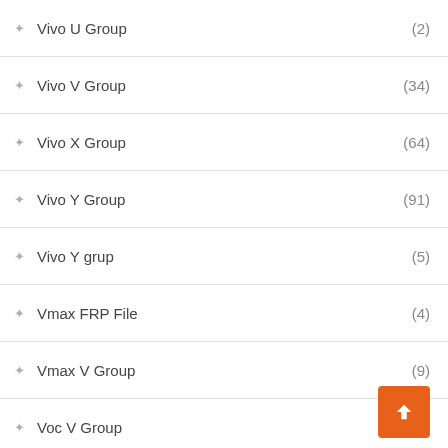Vivo U Group (2)
Vivo V Group (34)
Vivo X Group (64)
Vivo Y Group (91)
Vivo Y grup (5)
Vmax FRP File (4)
Vmax V Group (9)
Voc V Group (1)
Walton B Group (2)
Walton F Group
Walton FRP (26)
Walton G Group (5)